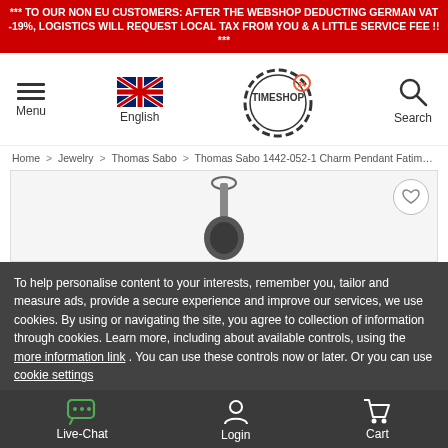*** TO OUR NON EU CUSTOMERS: AFTER THE WEBSHOP DEDUCTING GERMAN VAT -19%, LOGISTICS WILL REQUEST LOCAL TAX FROM YOU & A LITTLE SERVICE FEE !! ***
[Figure (screenshot): Navigation bar with hamburger menu icon, UK flag with 'English' label, Timeshop24 logo (gear/cogwheel circle with TIMESHOP 24 text), and search icon with 'Search' label]
Home > Jewelry > Thomas Sabo > Thomas Sabo 1442-052-1 Charm Pendant Fatimas hand
[Figure (photo): Product image area showing partial view of Thomas Sabo 1442-052-1 Charm Pendant Fatimas hand jewelry piece with heart/wishlist button in top right corner]
To help personalise content to your interests, remember you, tailor and measure ads, provide a secure experience and improve our services, we use cookies. By using or navigating the site, you agree to collection of information through cookies. Learn more, including about available controls, using the more information link . You can use these controls now or later. Or you can use cookie settings
ALLOW
Live-Chat  Login  Cart